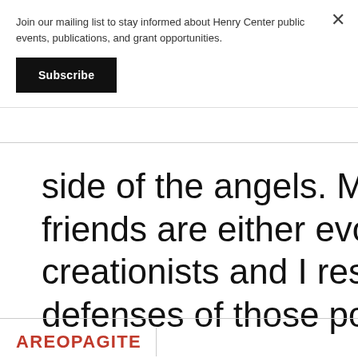Join our mailing list to stay informed about Henry Center public events, publications, and grant opportunities.
Subscribe
side of the angels. Many of m friends are either evolutionary creationists and I respect insi defenses of those positions;
AREOPAGITE